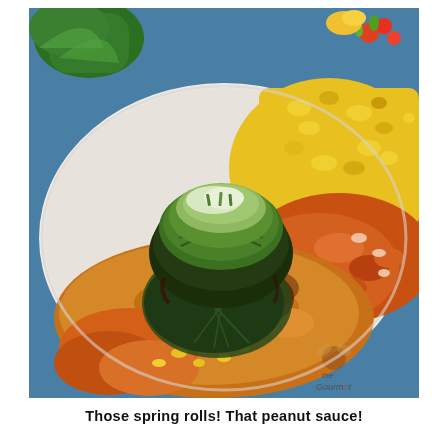[Figure (photo): A close-up photograph of a plate of food featuring green spring rolls wrapped in lettuce leaves presented in a dark bowl/shell, placed atop a large piece of golden-brown fried food (likely tofu or fish cake), surrounded by bright yellow turmeric rice and orange-sauced fried items. A watermark reading 'the Gourmet' is visible in the bottom-right corner.]
Those spring rolls! That peanut sauce!